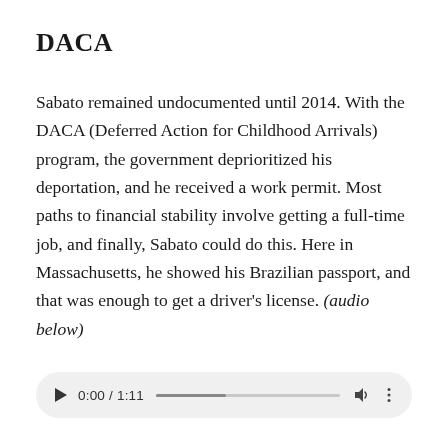DACA
Sabato remained undocumented until 2014. With the DACA (Deferred Action for Childhood Arrivals) program, the government deprioritized his deportation, and he received a work permit. Most paths to financial stability involve getting a full-time job, and finally, Sabato could do this. Here in Massachusetts, he showed his Brazilian passport, and that was enough to get a driver’s license. (audio below)
[Figure (other): Audio player widget showing 0:00 / 1:11 with progress bar, play button, volume and options icons]